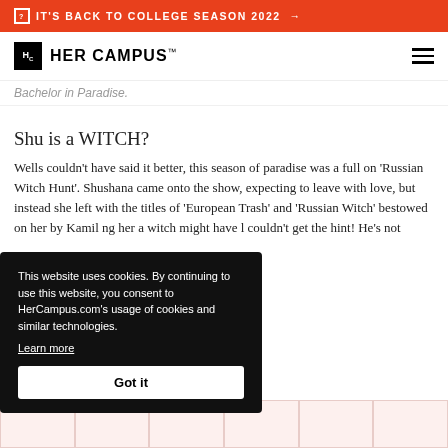IT'S BACK TO COLLEGE SEASON 2022 →
HER CAMPUS
Shu is a WITCH?
Wells couldn't have said it better, this season of paradise was a full on 'Russian Witch Hunt'. Shushana came onto the show, expecting to leave with love, but instead she left with the titles of 'European Trash' and 'Russian Witch' bestowed on her by Kamil ng her a witch might have l couldn't get the hint! He's not
This website uses cookies. By continuing to use this website, you consent to HerCampus.com's usage of cookies and similar technologies. Learn more
Got it